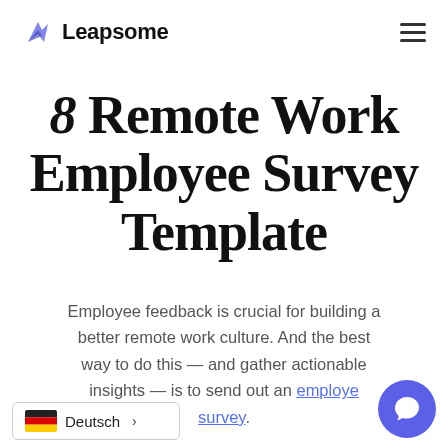Leapsome
8 Remote Work Employee Survey Template
Employee feedback is crucial for building a better remote work culture. And the best way to do this — and gather actionable insights — is to send out an employee survey.